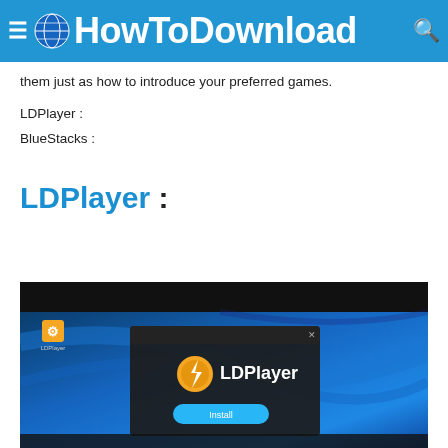HowToDownload
them just as how to introduce your preferred games.
LDPlayer :
BlueStacks :
LDPlayer :
[Figure (screenshot): LDPlayer installer splash screen on a Windows 10 desktop background, showing the LDPlayer logo (orange circular icon with lightning bolt) and an Install button.]